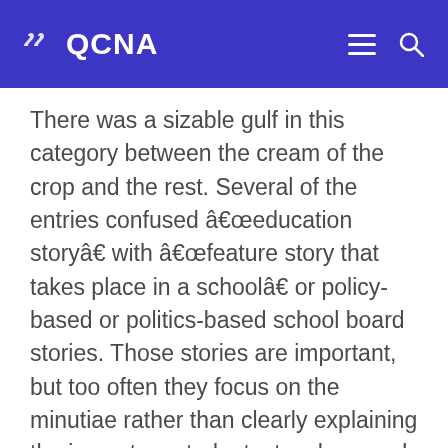QCNA
There was a sizable gulf in this category between the cream of the crop and the rest. Several of the entries confused â€œeducation storyâ€ with â€œfeature story that takes place in a schoolâ€ or policy-based or politics-based school board stories. Those stories are important, but too often they focus on the minutiae rather than clearly explaining the impact on students, teachers and parents. Those that